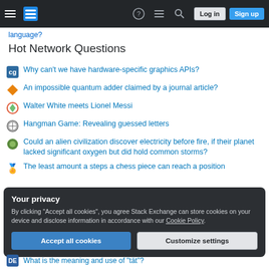Stack Exchange navigation bar with Log in and Sign up buttons
language?
Hot Network Questions
Why can't we have hardware-specific graphics APIs?
An impossible quantum adder claimed by a journal article?
Walter White meets Lionel Messi
Hangman Game: Revealing guessed letters
Could an alien civilization discover electricity before fire, if their planet lacked significant oxygen but did hold common storms?
The least amount a steps a chess piece can reach a position
Your privacy
By clicking "Accept all cookies", you agree Stack Exchange can store cookies on your device and disclose information in accordance with our Cookie Policy.
What is the meaning and use of "tät"?